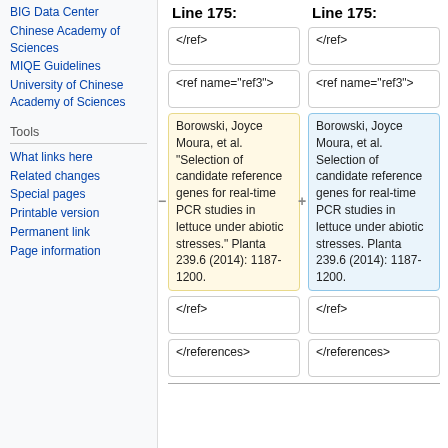BIG Data Center
Chinese Academy of Sciences
MIQE Guidelines
University of Chinese Academy of Sciences
Tools
What links here
Related changes
Special pages
Printable version
Permanent link
Page information
Line 175:
Line 175:
</ref>
</ref>
<ref name="ref3">
<ref name="ref3">
Borowski, Joyce Moura, et al. "Selection of candidate reference genes for real-time PCR studies in lettuce under abiotic stresses." Planta 239.6 (2014): 1187-1200.
Borowski, Joyce Moura, et al. Selection of candidate reference genes for real-time PCR studies in lettuce under abiotic stresses. Planta 239.6 (2014): 1187-1200.
</ref>
</ref>
</references>
</references>